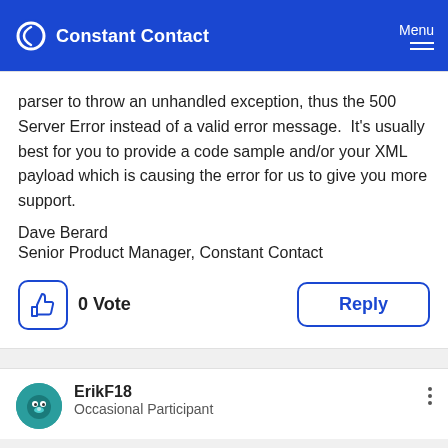Constant Contact | Menu
parser to throw an unhandled exception, thus the 500 Server Error instead of a valid error message.  It's usually best for you to provide a code sample and/or your XML payload which is causing the error for us to give you more support.
Dave Berard
Senior Product Manager, Constant Contact
0 Vote
Reply
ErikF18
Occasional Participant